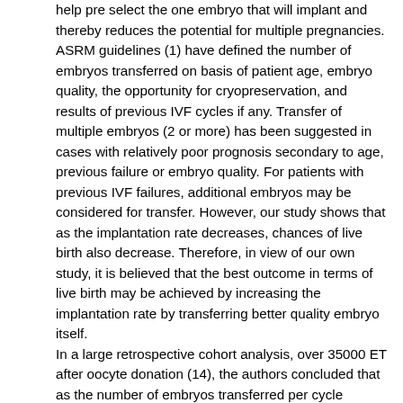help pre select the one embryo that will implant and thereby reduces the potential for multiple pregnancies. ASRM guidelines (1) have defined the number of embryos transferred on basis of patient age, embryo quality, the opportunity for cryopreservation, and results of previous IVF cycles if any. Transfer of multiple embryos (2 or more) has been suggested in cases with relatively poor prognosis secondary to age, previous failure or embryo quality. For patients with previous IVF failures, additional embryos may be considered for transfer. However, our study shows that as the implantation rate decreases, chances of live birth also decrease. Therefore, in view of our own study, it is believed that the best outcome in terms of live birth may be achieved by increasing the implantation rate by transferring better quality embryo itself. In a large retrospective cohort analysis, over 35000 ET after oocyte donation (14), the authors concluded that as the number of embryos transferred per cycle increased, so did the total number of cycles required to achieve a newborn. This study also showed that percentage of miscarriage also increased along with total number of embryo transferred. This study, however, did not evaluate single-, double-, or triple-embryo transfers per se and the researchers did not take into consideration the quality of embryos transferred. Despite these